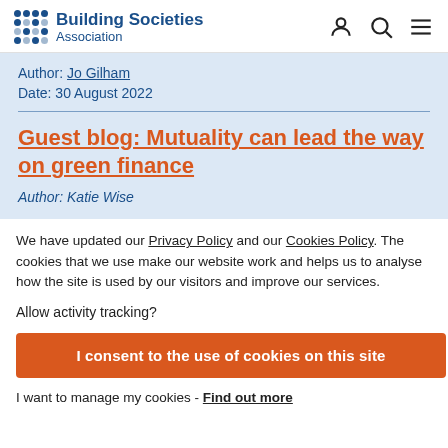Building Societies Association
Author: Jo Gilham
Date: 30 August 2022
Guest blog: Mutuality can lead the way on green finance
Author: Katie Wise
We have updated our Privacy Policy and our Cookies Policy. The cookies that we use make our website work and helps us to analyse how the site is used by our visitors and improve our services.
Allow activity tracking?
I consent to the use of cookies on this site
I want to manage my cookies - Find out more